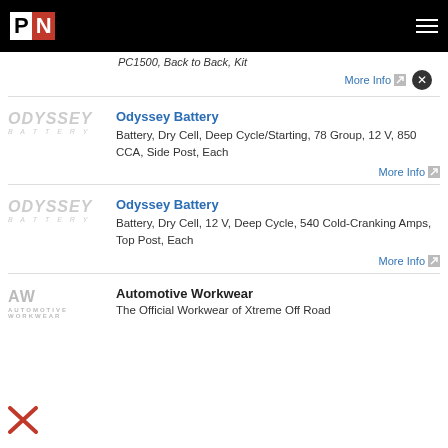PN
PC1500, Back to Back, Kit
More Info
Odyssey Battery
Battery, Dry Cell, Deep Cycle/Starting, 78 Group, 12 V, 850 CCA, Side Post, Each
More Info
Odyssey Battery
Battery, Dry Cell, 12 V, Deep Cycle, 540 Cold-Cranking Amps, Top Post, Each
More Info
Automotive Workwear
The Official Workwear of Xtreme Off Road